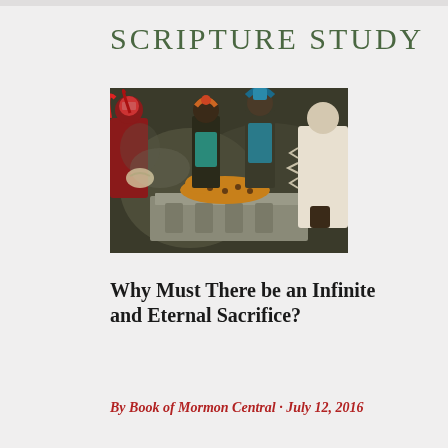SCRIPTURE STUDY
[Figure (illustration): A dramatic painting depicting an ancient Mesoamerican sacrifice scene with colorful figures in ceremonial dress surrounding an altar with a spotted jaguar, and a figure in white robes on the right.]
Why Must There be an Infinite and Eternal Sacrifice?
By Book of Mormon Central · July 12, 2016